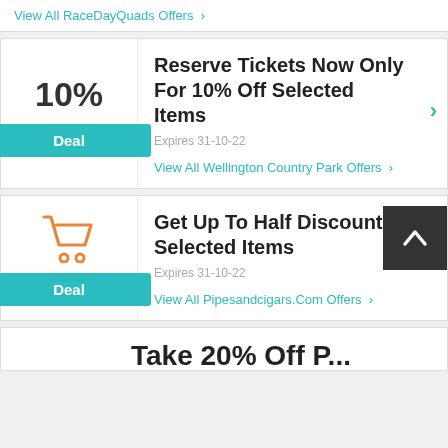View All RaceDayQuads Offers >
Reserve Tickets Now Only For 10% Off Selected Items
Expires 31-10-22
View All Wellington Country Park Offers >
Get Up To Half Discount Selected Items
Expires 31-10-22
View All Pipesandcigars.Com Offers >
Take 20% Off P...